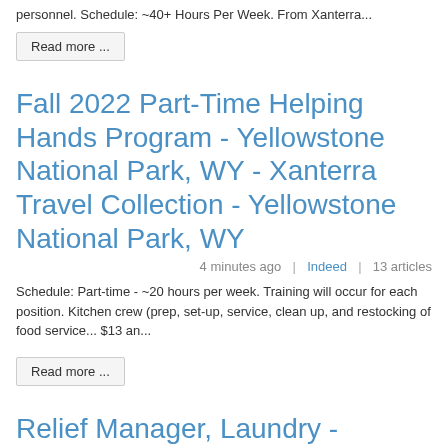personnel. Schedule: ~40+ Hours Per Week. From Xanterra...
Read more ...
Fall 2022 Part-Time Helping Hands Program - Yellowstone National Park, WY - Xanterra Travel Collection - Yellowstone National Park, WY
4 minutes ago | Indeed | 13 articles
Schedule: Part-time - ~20 hours per week. Training will occur for each position. Kitchen crew (prep, set-up, service, clean up, and restocking of food service... $13 an...
Read more ...
Relief Manager, Laundry - Xanterra Travel Collection - Yellowstone National Park, WY
4 minutes ago | Indeed | 7 articles